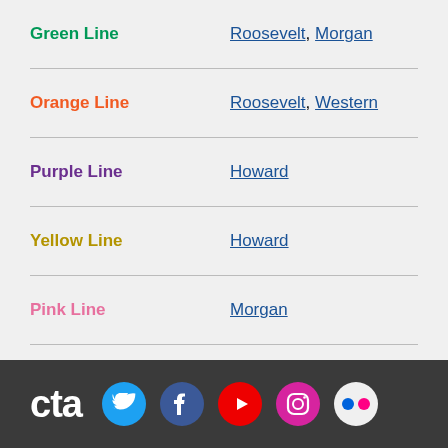Green Line — Roosevelt, Morgan
Orange Line — Roosevelt, Western
Purple Line — Howard
Yellow Line — Howard
Pink Line — Morgan
Purple Line Exp — Howard
All elevator alerts: Current or Upcoming
See also: complete system status
cta [Twitter] [Facebook] [YouTube] [Instagram] [Flickr]